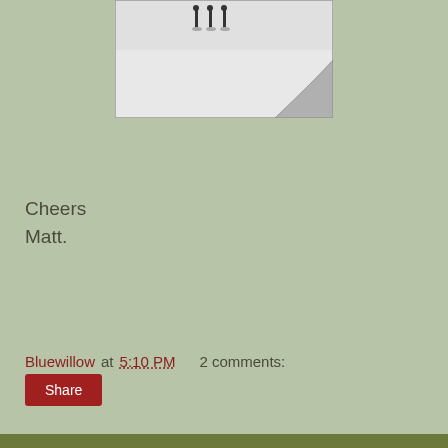[Figure (photo): Black and white photo showing figures standing on a snowy or light-colored surface, with a curved road or path visible on the right side]
Cheers
Matt.
Bluewillow at 5:10 PM   2 comments:
Share